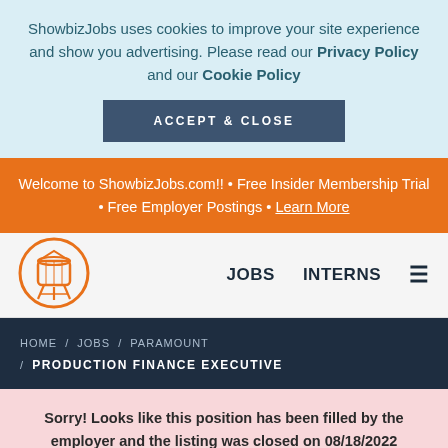ShowbizJobs uses cookies to improve your site experience and show you advertising. Please read our Privacy Policy and our Cookie Policy
ACCEPT & CLOSE
Welcome to ShowbizJobs.com!! • Free Insider Membership Trial • Free Employer Postings • Learn More
[Figure (logo): ShowbizJobs water tower logo in orange circle]
JOBS   INTERNS
HOME / JOBS / PARAMOUNT / PRODUCTION FINANCE EXECUTIVE
Sorry! Looks like this position has been filled by the employer and the listing was closed on 08/18/2022